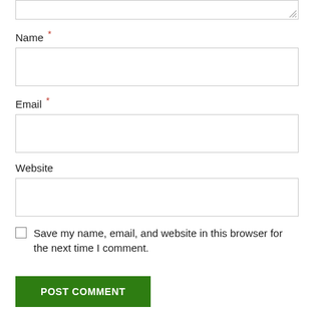[Figure (screenshot): Top portion of a text area input box with a resize handle in the bottom right corner]
Name *
[Figure (screenshot): Name input field (empty text box)]
Email *
[Figure (screenshot): Email input field (empty text box)]
Website
[Figure (screenshot): Website input field (empty text box)]
Save my name, email, and website in this browser for the next time I comment.
POST COMMENT
This site uses Akismet to reduce spam. Learn how your